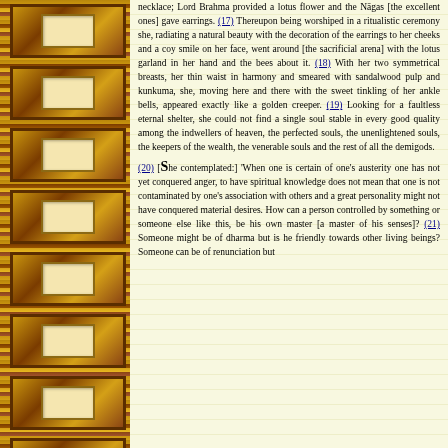necklace; Lord Brahma provided a lotus flower and the Nāgas [the excellent ones] gave earrings. (17) Thereupon being worshiped in a ritualistic ceremony she, radiating a natural beauty with the decoration of the earrings to her cheeks and a coy smile on her face, went around [the sacrificial arena] with the lotus garland in her hand and the bees about it. (18) With her two symmetrical breasts, her thin waist in harmony and smeared with sandalwood pulp and kunkuma, she, moving here and there with the sweet tinkling of her ankle bells, appeared exactly like a golden creeper. (19) Looking for a faultless eternal shelter, she could not find a single soul stable in every good quality among the indwellers of heaven, the perfected souls, the unenlightened souls, the keepers of the wealth, the venerable souls and the rest of all the demigods.
(20) [She contemplated:] 'When one is certain of one's austerity one has not yet conquered anger, to have spiritual knowledge does not mean that one is not contaminated by one's association with others and a great personality might not have conquered material desires. How can a person controlled by something or someone else like this, be his own master [a master of his senses]? (21) Someone might be of dharma but is he friendly towards other living beings? Someone can be of renunciation but...